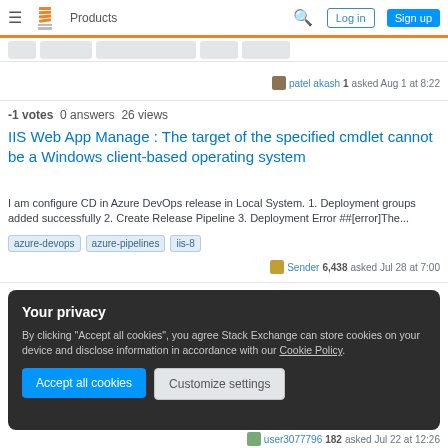Stack Overflow — Products | Log in | Sign up
patel akash 1 asked Aug 1 at 8:22
-1 votes  0 answers  26 views
IIS Web App Manage : The target of the specified cmdlet cannot be a Windows client-based operating system
I am configure CD in Azure DevOps release in Local System. 1. Deployment groups added successfully 2. Create Release Pipeline 3. Deployment Error ##[error]The...
azure-devops
azure-pipelines
iis-8
Sender 6,438 asked Jul 28 at 7:00
Your privacy
By clicking "Accept all cookies", you agree Stack Exchange can store cookies on your device and disclose information in accordance with our Cookie Policy.
Accept all cookies
Customize settings
user3077796 182 asked Jul 22 at 12:26